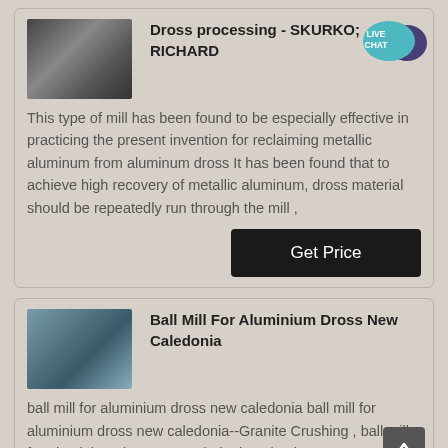[Figure (photo): Industrial facility photo used as card thumbnail - dark machinery]
Dross processing - SKURKO; RICHARD
[Figure (infographic): Live Chat speech bubble icon in teal/blue]
This type of mill has been found to be especially effective in practicing the present invention for reclaiming metallic aluminum from aluminum dross It has been found that to achieve high recovery of metallic aluminum, dross material should be repeatedly run through the mill ,
Get Price
[Figure (photo): Industrial ball mill equipment photo used as card thumbnail]
Ball Mill For Aluminium Dross New Caledonia
ball mill for aluminium dross new caledonia ball mill for aluminium dross new caledonia--Granite Crushing , ball mill for aluminium dross new caledonia , aluminum goes to the